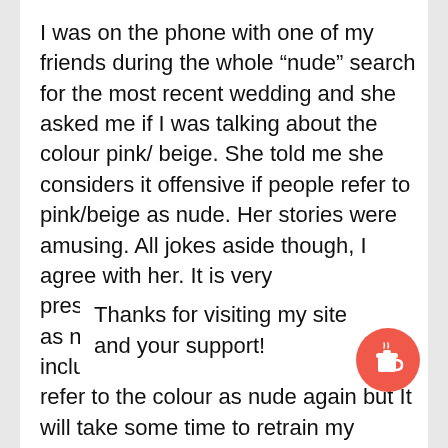I was on the phone with one of my friends during the whole “nude” search for the most recent wedding and she asked me if I was talking about the colour pink/ beige. She told me she considers it offensive if people refer to pink/beige as nude. Her stories were amusing. All jokes aside though, I agree with her. It is very presumptuous to refer to that colour as nude if other colours are not included. I vowed to her I would never refer to the colour as nude again but It will take some time to retrain my thinking and get other people to kr… out.... Whil… at there are many shades of nude I will try and do
Thanks for visiting my site and your support!
[Figure (illustration): Red circular button with a coffee cup icon (Buy Me a Coffee widget)]